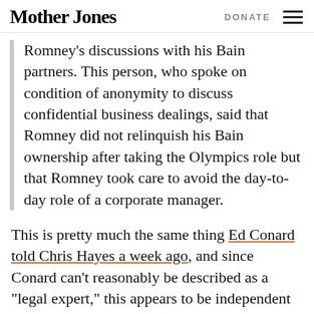Mother Jones   DONATE
Romney's discussions with his Bain partners. This person, who spoke on condition of anonymity to discuss confidential business dealings, said that Romney did not relinquish his Bain ownership after taking the Olympics role but that Romney took care to avoid the day-to-day role of a corporate manager.
This is pretty much the same thing Ed Conard told Chris Hayes a week ago, and since Conard can't reasonably be described as a "legal expert," this appears to be independent confirmation of what he said. For the time being, then, it appears that the best evidence supports Romney's story that (a) he